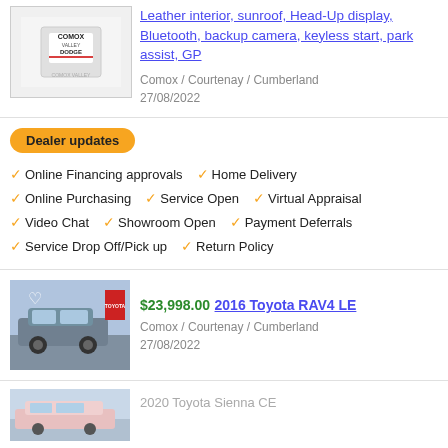[Figure (logo): Comox Valley Dodge logo with dealer name]
Leather interior, sunroof, Head-Up display, Bluetooth, backup camera, keyless start, park assist, GP
Comox / Courtenay / Cumberland
27/08/2022
Dealer updates
Online Financing approvals
Home Delivery
Online Purchasing
Service Open
Virtual Appraisal
Video Chat
Showroom Open
Payment Deferrals
Service Drop Off/Pick up
Return Policy
[Figure (photo): Photo of a gray 2016 Toyota RAV4 LE in a dealership lot]
$23,998.00 2016 Toyota RAV4 LE
Comox / Courtenay / Cumberland
27/08/2022
[Figure (photo): Partial photo of a 2020 Toyota Sienna CE]
2020 Toyota Sienna CE